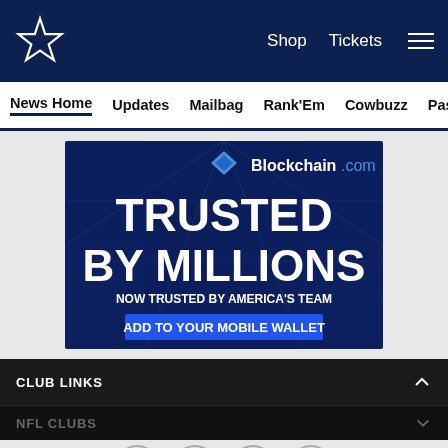Dallas Cowboys navigation — Shop, Tickets, Menu
News Home  Updates  Mailbag  Rank'Em  Cowbuzz  Past/Pres
[Figure (screenshot): Blockchain.com advertisement banner: 'TRUSTED BY MILLIONS — NOW TRUSTED BY AMERICA'S TEAM — ADD TO YOUR MOBILE WALLET']
CLUB LINKS
NFL CLUBS
Social share icons: Facebook, Twitter, Email, Link